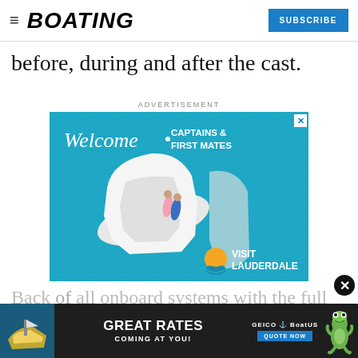BOATING | SUBSCRIBE
before, during and after the cast.
ADVERTISEMENT
[Figure (photo): Advertisement for Visit Lauderdale featuring aerial view of a white boat on teal water with two people sunbathing on deck. Text reads: Welcome CAPTAINS & FIRST MATES, VISIT LAUDERDALE]
[Figure (photo): Geico BoatUS advertisement: GREAT RATES COMING AT YOU! with QUOTE NOW button and Geico gecko mascot, dark background with boat image on left]
Back of all onboard systems with the full digital